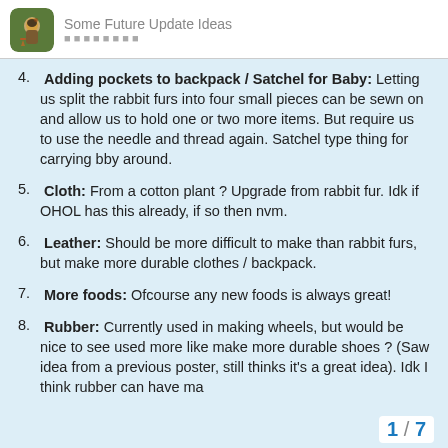Some Future Update Ideas
4. Adding pockets to backpack / Satchel for Baby: Letting us split the rabbit furs into four small pieces can be sewn on and allow us to hold one or two more items. But require us to use the needle and thread again. Satchel type thing for carrying bby around.
5. Cloth: From a cotton plant ? Upgrade from rabbit fur. Idk if OHOL has this already, if so then nvm.
6. Leather: Should be more difficult to make than rabbit furs, but make more durable clothes / backpack.
7. More foods: Ofcourse any new foods is always great!
8. Rubber: Currently used in making wheels, but would be nice to see used more like make more durable shoes ? (Saw idea from a previous poster, still thinks it's a great idea). Idk I think rubber can have ma
1 / 7